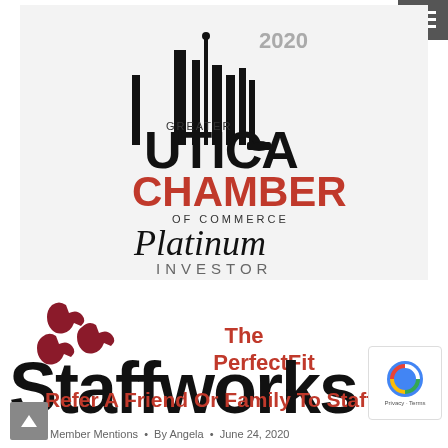[Figure (logo): Greater Utica Chamber of Commerce 2020 Platinum Investor logo]
[Figure (logo): The PerfectFit Staffworks company logo with puzzle piece icons]
Refer A Friend Or Family To Staffworks
Member Mentions • By Angela • June 24, 2020